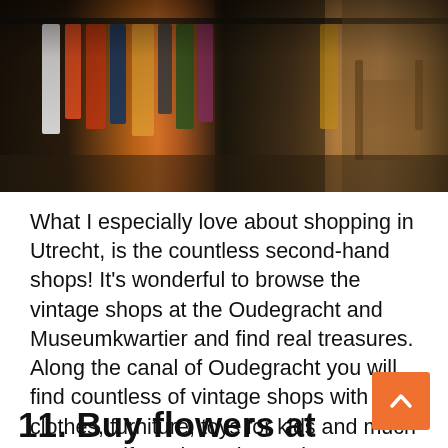[Figure (photo): Interior of a vintage/second-hand clothing shop with racks of hanging clothes, furniture visible in background, warm lighting]
What I especially love about shopping in Utrecht, is the countless second-hand shops! It's wonderful to browse the vintage shops at the Oudegracht and Museumkwartier and find real treasures. Along the canal of Oudegracht you will find countless of vintage shops with clothes, furniture, toys for kids and much more! So if you love vintage items too, definitely pick Utrecht as your next citytrip.
11. Buy flowers at the flower